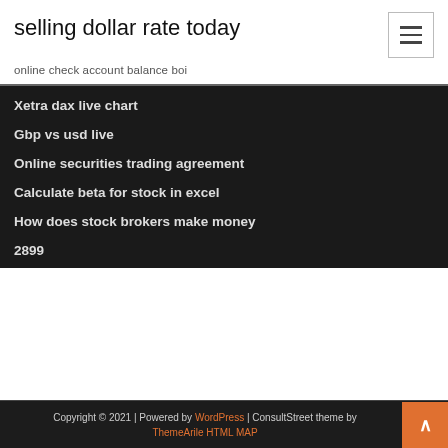selling dollar rate today
online check account balance boi
Xetra dax live chart
Gbp vs usd live
Online securities trading agreement
Calculate beta for stock in excel
How does stock brokers make money
2899
Copyright © 2021 | Powered by WordPress | ConsultStreet theme by ThemeArile HTML MAP